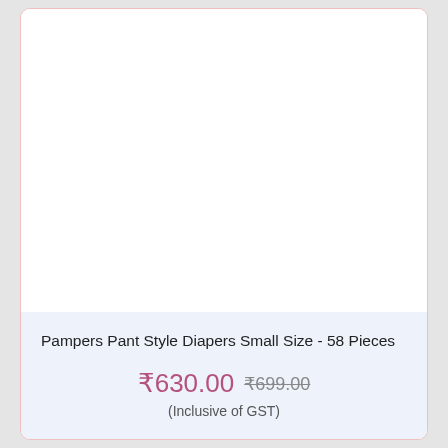[Figure (photo): Product image area — empty/white space where product photo would appear]
Pampers Pant Style Diapers Small Size - 58 Pieces
₹630.00  ₹699.00 (Inclusive of GST)